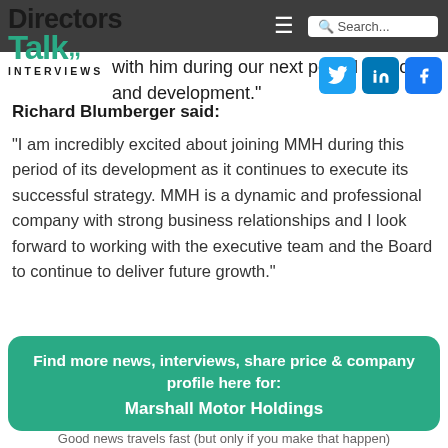Directors Talk Interviews
behalf of the Board, look forward to welcoming him to MMH and working with him during our next period of growth and development."
Richard Blumberger said:
"I am incredibly excited about joining MMH during this period of its development as it continues to execute its successful strategy. MMH is a dynamic and professional company with strong business relationships and I look forward to working with the executive team and the Board to continue to deliver future growth."
Find more news, interviews, share price & company profile here for: Marshall Motor Holdings
Good news travels fast (but only if you make that happen)